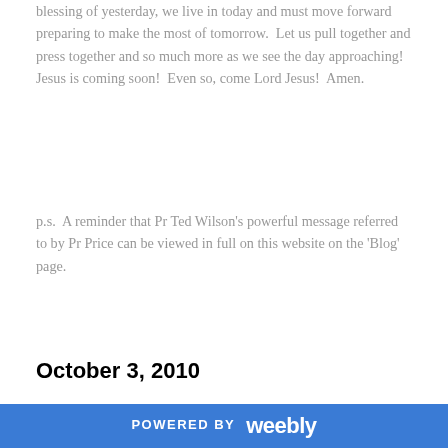blessing of yesterday, we live in today and must move forward preparing to make the most of tomorrow.  Let us pull together and press together and so much more as we see the day approaching!  Jesus is coming soon!  Even so, come Lord Jesus!  Amen.
p.s.  A reminder that Pr Ted Wilson's powerful message referred to by Pr Price can be viewed in full on this website on the 'Blog' page.
October 3, 2010
ALIVE was truly ALIVE on the 2nd of October!  Even though it was the long weekend - we were blessed with a great number, good singing and a beautiful
[Figure (photo): Interior of a church/hall with wooden beam ceiling, stage with people presenting, and audience seated and standing, looking toward the front.]
POWERED BY weebly